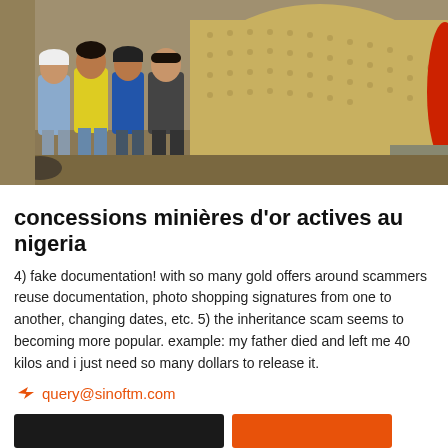[Figure (photo): Four men standing in front of a large industrial mining machine (ball mill) outdoors. The machine is large, cylindrical, yellow/tan colored with bolts. The men are wearing casual work clothes and jackets.]
concessions minières d'or actives au nigeria
4) fake documentation! with so many gold offers around scammers reuse documentation, photo shopping signatures from one to another, changing dates, etc. 5) the inheritance scam seems to becoming more popular. example: my father died and left me 40 kilos and i just need so many dollars to release it.
query@sinoftm.com